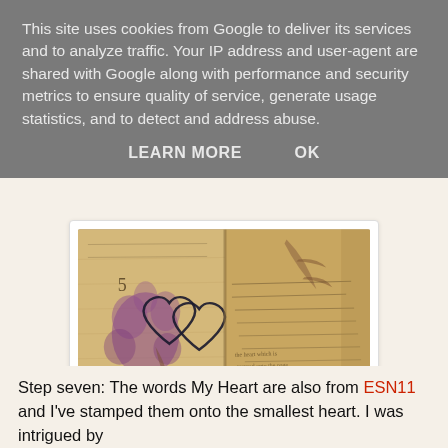This site uses cookies from Google to deliver its services and to analyze traffic. Your IP address and user-agent are shared with Google along with performance and security metrics to ensure quality of service, generate usage statistics, and to detect and address abuse.
LEARN MORE    OK
[Figure (photo): Photo of an open antique journal or scrapbook page with handwritten cursive text, a purple flower stamp, a brown leaf/fern botanical print, and two overlapping heart outlines drawn in dark ink. The paper appears aged and distressed with brown tones.]
Step seven: The words My Heart are also from ESN11 and I've stamped them onto the smallest heart. I was intrigued by